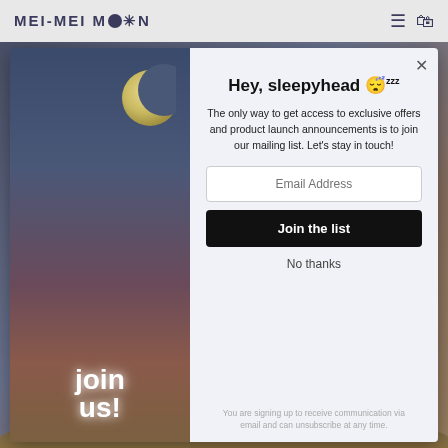MEI-MEI MOON
[Figure (screenshot): Website popup modal with left panel showing crescent moon in night sky and 'join us!' text in white bold font over purple/pink/mauve clouds. Right panel on light blue-gray background with email signup form.]
Hey, sleepyhead 😴zzz
The only way to get access to exclusive offers and product launch announcements is to join our mailing list. Let's stay in touch!
Email Address
Join the list
No thanks
You are signing up to receive communication via email and can unsubscribe at any time.